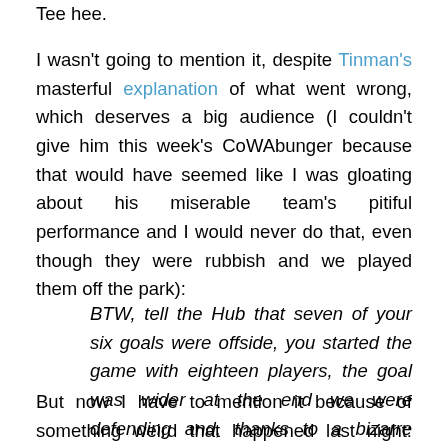Tee hee.
I wasn't going to mention it, despite Tinman's masterful explanation of what went wrong, which deserves a big audience (I couldn't give him this week's CoWAbunger because that would have seemed like I was gloating about his miserable team's pitiful performance and I would never do that, even though they were rubbish and we played them off the park):
BTW, tell the Hub that seven of your six goals were offside, you started the game with eighteen players, the goal was wider at the end we were defending and, thanks to a bizarre sponsorship deal, our players were forced to play wearing deep-sea diver's boots.
But now I have to mention it because of something weird that happened last night: Richard Branson was clearly out